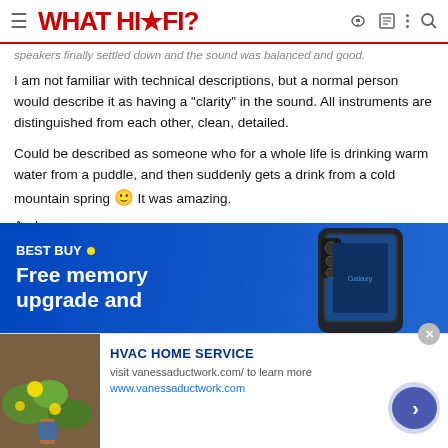WHAT HI-FI?
speakers finally settled down and the sound was balanced and good.
I am not familiar with technical descriptions, but a normal person would describe it as having a "clarity" in the sound. All instruments are distinguished from each other, clean, detailed.
Could be described as someone who for a whole life is drinking warm water from a puddle, and then suddenly gets a drink from a cold mountain spring 🙂 It was amazing.
And some cons:
The sound is very conditioned by the position of the speakers
[Figure (screenshot): Best Buy advertisement: Free memory upgrade and — shown with Samsung Galaxy Z Fold phone image]
[Figure (screenshot): HVAC Home Service advertisement with image of person gardening, title HVAC HOME SERVICE, URL vanessaductwork.com]